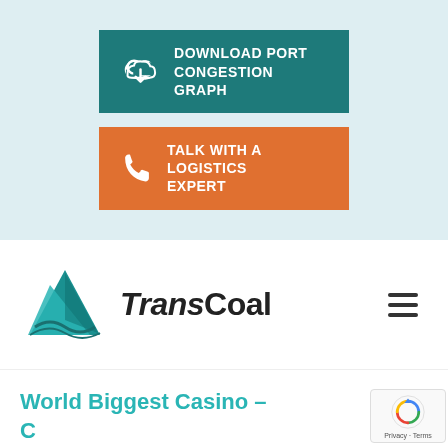[Figure (other): Teal button with cloud download icon and text DOWNLOAD PORT CONGESTION GRAPH]
[Figure (other): Orange button with phone icon and text TALK WITH A LOGISTICS EXPERT]
[Figure (logo): TransCoal company logo with teal mountain graphic and bold text TRANSCOAL, plus hamburger menu icon]
World Biggest Casino –